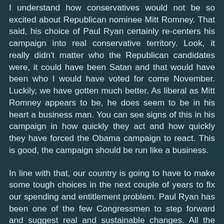I understand how conservatives would not be so excited about Republican nominee Mitt Romney. That said, his choice of Paul Ryan certainly re-centers his campaign into real conservative territory. Look, it really didn't matter who the Republican candidates were, it could have been Satan and that would have been who I would have voted for come November. Luckily, we have gotten much better. As liberal as Mitt Romney appears to be, he does seem to be in his heart a business man. You can see signs of this in his campaign in how quickly they act and how quickly they have forced the Obama campaign to react. This is good, the campaign should be run like a business.
In line with that, our country is going to have to make some tough choices in the next couple of years to fix our spending and entitlement problem. Paul Ryan has been one of the few Congressmen to step forward and suggest real and sustainable changes. All the Obama Administration and Democrats have been able to manage is increased spending and intentionally not adopting a budget for the last three years. On top of that, they have been playing games with the budget numbers that if they did the same thing in the private